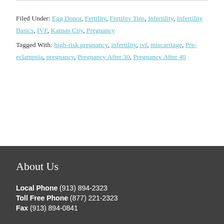Filed Under: Egg Donor, Fertility, Fertility Tips, Infertility, Infertility Basics, IVF, Kansas City, Pregnancy
Tagged With: high-risk pregnancy, infertility, ivf, miscarriage, Pre-eclampsia, pregnancy, Pregnancy After 30, Pregnancy After 40
About Us
Local Phone (913) 894-2323
Toll Free Phone (877) 221-2323
Fax (913) 894-0841